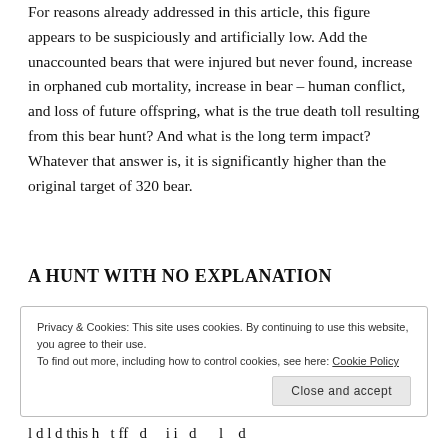For reasons already addressed in this article, this figure appears to be suspiciously and artificially low. Add the unaccounted bears that were injured but never found, increase in orphaned cub mortality, increase in bear – human conflict, and loss of future offspring, what is the true death toll resulting from this bear hunt? And what is the long term impact? Whatever that answer is, it is significantly higher than the original target of 320 bear.
A HUNT WITH NO EXPLANATION
Privacy & Cookies: This site uses cookies. By continuing to use this website, you agree to their use.
To find out more, including how to control cookies, see here: Cookie Policy
l d l d this h t ff d i i d